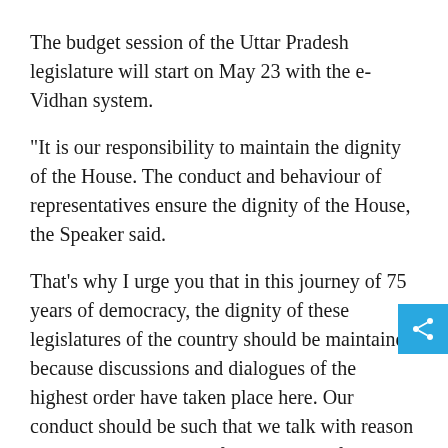The budget session of the Uttar Pradesh legislature will start on May 23 with the e-Vidhan system.
"It is our responsibility to maintain the dignity of the House. The conduct and behaviour of representatives ensure the dignity of the House, the Speaker said.
That's why I urge you that in this journey of 75 years of democracy, the dignity of these legislatures of the country should be maintained because discussions and dialogues of the highest order have taken place here. Our conduct should be such that we talk with reason and keep the problem of the people before the House properly," he said.
"Many politicians have come out of these assemblies who have put forth their points of view in the assembly and Lok Sabha on the basis of arguments. Today the legislatures and Lok Sabha are a medium and platform to make the best leaders of the country. We hope that you will work in this